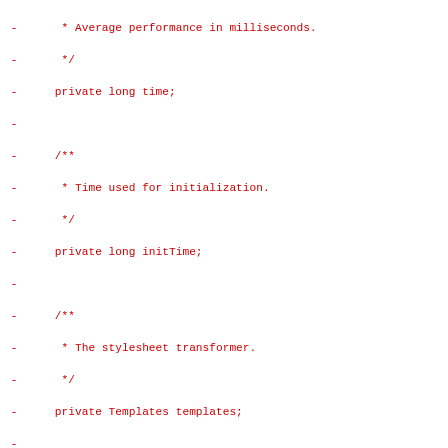Code diff showing removed lines with Java class fields and constructor: private long time, private long initTime, private Templates templates, private String stylesheetURL, and a constructor IdLTransformer(String stylesheetURL) with initialization code.